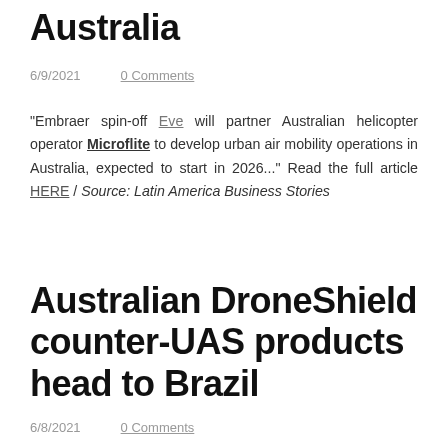Australia
6/9/2021     0 Comments
"Embraer spin-off Eve will partner Australian helicopter operator Microflite to develop urban air mobility operations in Australia, expected to start in 2026..." Read the full article HERE / Source: Latin America Business Stories
Australian DroneShield counter-UAS products head to Brazil
6/8/2021     0 Comments